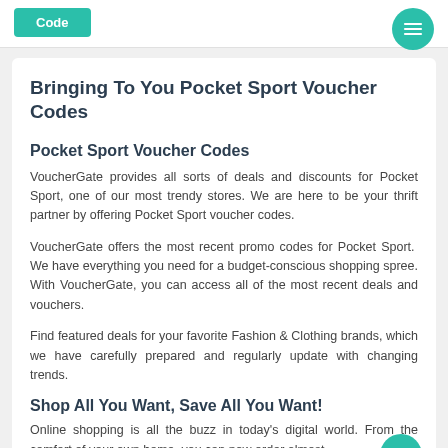Code
Bringing To You Pocket Sport Voucher Codes
Pocket Sport Voucher Codes
VoucherGate provides all sorts of deals and discounts for Pocket Sport, one of our most trendy stores. We are here to be your thrift partner by offering Pocket Sport voucher codes.
VoucherGate offers the most recent promo codes for Pocket Sport.  We have everything you need for a budget-conscious shopping spree. With VoucherGate, you can access all of the most recent deals and vouchers.
Find featured deals for your favorite Fashion & Clothing brands, which we have carefully prepared and regularly update with changing trends.
Shop All You Want, Save All You Want!
Online shopping is all the buzz in today's digital world. From the comfort of your own home, you can now order almost